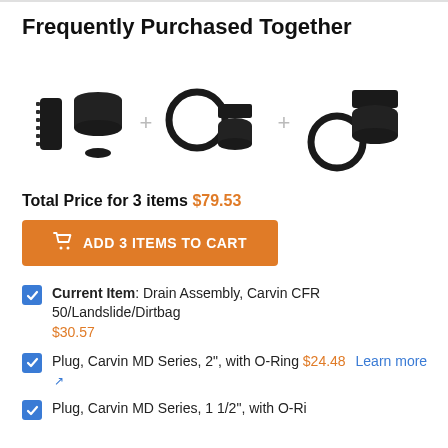Frequently Purchased Together
[Figure (photo): Product bundle photo showing drain assembly parts (pipe, cap, small disc), plus sign, O-ring and plug (with square head), plus sign, O-ring and plug — three product groups joined by plus signs]
Total Price for 3 items $79.53
ADD 3 ITEMS TO CART
Current Item: Drain Assembly, Carvin CFR 50/Landslide/Dirtbag $30.57
Plug, Carvin MD Series, 2", with O-Ring $24.48 Learn more
Plug, Carvin MD Series, 1 1/2", with O-Ring